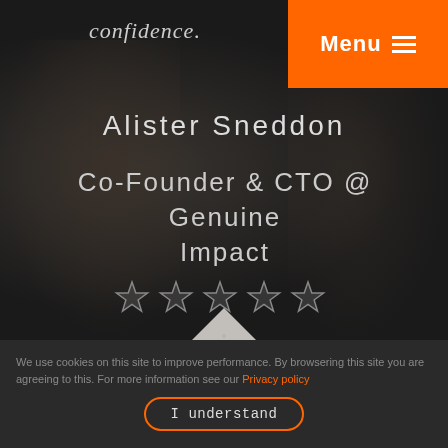Menu ≡
confidence.
Alister Sneddon
Co-Founder & CTO @ Genuine Impact
[Figure (illustration): Five star rating icons in grey/outline style]
[Figure (illustration): White triangle/arrow shape pointing upward, partially visible]
What makes effective project handover? ▲
We use cookies on this site to improve performance. By browsering this site you are agreeing to this. For more information see our Privacy policy
I understand